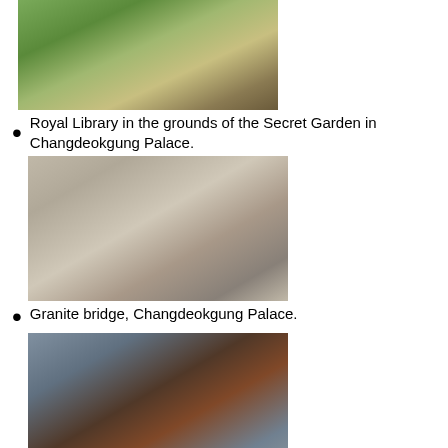[Figure (photo): Royal Library in the grounds of the Secret Garden in Changdeokgung Palace - aerial/landscape view with traditional Korean architecture and greenery]
Royal Library in the grounds of the Secret Garden in Changdeokgung Palace.
[Figure (photo): Granite bridge at Changdeokgung Palace - stone arch bridge with decorative stone railings]
Granite bridge, Changdeokgung Palace.
[Figure (photo): Honghwa Gate, Changgyeonggung Palace - traditional Korean wooden gate with multi-tiered roofs]
Honghwa Gate, Changgyeonggung Palace. Rebuilt in 1616, it is one of the oldest serviving wooden gates in Korea.
[Figure (photo): Myeongjeongjeon, the throne hall of Changgyeonggung Palace - traditional Korean palace hall with wide stone courtyard]
Myeongjeongjeon, the throne hall of Changgyeonggung Palace.